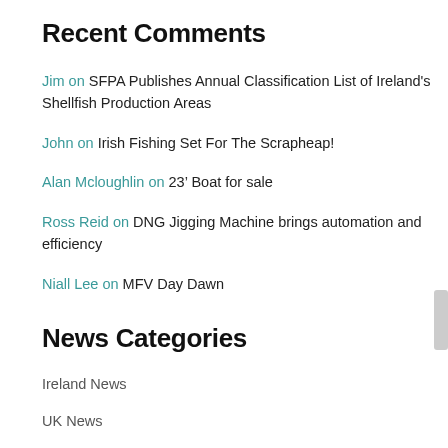Recent Comments
Jim on SFPA Publishes Annual Classification List of Ireland's Shellfish Production Areas
John on Irish Fishing Set For The Scrapheap!
Alan Mcloughlin on 23’ Boat for sale
Ross Reid on DNG Jigging Machine brings automation and efficiency
Niall Lee on MFV Day Dawn
News Categories
Ireland News
UK News
International News
Research News